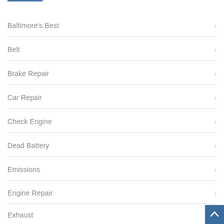Baltimore's Best
Belt
Brake Repair
Car Repair
Check Engine
Dead Battery
Emissions
Engine Repair
Exhaust
Fall Weather